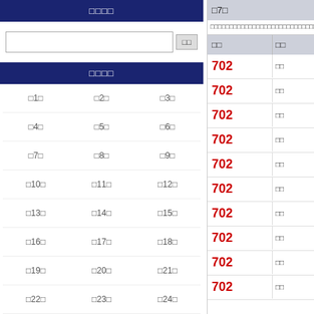□□□□
□□ [search input] □□
□□□□
□1□
□2□
□3□
□4□
□5□
□6□
□7□
□8□
□9□
□10□
□11□
□12□
□13□
□14□
□15□
□16□
□17□
□18□
□19□
□20□
□21□
□22□
□23□
□24□
□25□
□26□
□27□
□28□
□29□
□30□
□7□
□□□□□□□□□□□□□□□□□□□□□□□□□□□□□□□□□□□
| □□ | □□ |
| --- | --- |
| 702 | □□ |
| 702 | □□ |
| 702 | □□ |
| 702 | □□ |
| 702 | □□ |
| 702 | □□ |
| 702 | □□ |
| 702 | □□ |
| 702 | □□ |
| 702 | □□ |